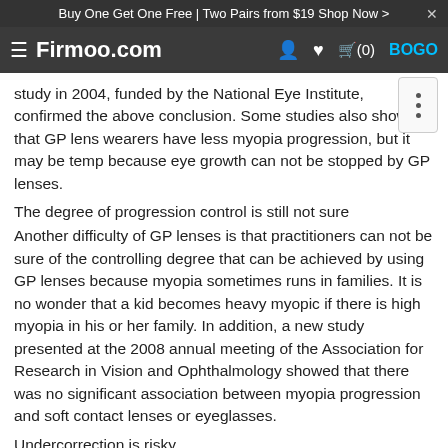Buy One Get One Free | Two Pairs from $19 Shop Now > ×
≡ Firmoo.com  👤 ♥ 🛒(0) BOGO
study in 2004, funded by the National Eye Institute, confirmed the above conclusion. Some studies also show that GP lens wearers have less myopia progression, but it may be temp... because eye growth can not be stopped by GP lenses.
The degree of progression control is still not sure
Another difficulty of GP lenses is that practitioners can not be sure of the controlling degree that can be achieved by using GP lenses because myopia sometimes runs in families. It is no wonder that a kid becomes heavy myopic if there is high myopia in his or her family. In addition, a new study presented at the 2008 annual meeting of the Association for Research in Vision and Ophthalmology showed that there was no significant association between myopia progression and soft contact lenses or eyeglasses.
Undercorrection is risky
Some eye doctors also have tried undercorrecting nearsightedness. In other words, they try to make a relative low